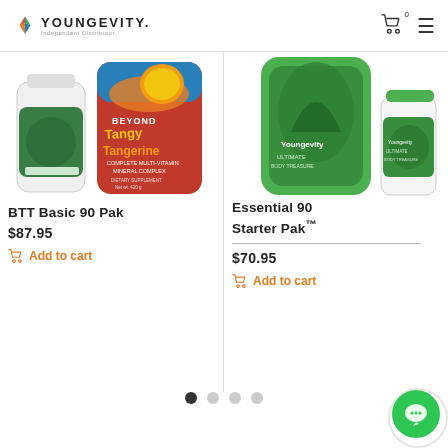YOUNGEVITY Independent Distributor
[Figure (photo): Product photo of BTT Basic 90 Pak showing two supplement bottles: a white bottle with green cap and a large cylindrical container labeled Beyond Tangy Tangerine Complete Multi-Vitamin Mineral Complex]
BTT Basic 90 Pak
$87.95
Add to cart
[Figure (photo): Product photo of Essential 90 Starter Pak showing a large green pouch and a white bottle with green cap labeled Youngevity Ultimate Body Treasure]
Essential 90 Starter Pak™
$70.95
Add to cart